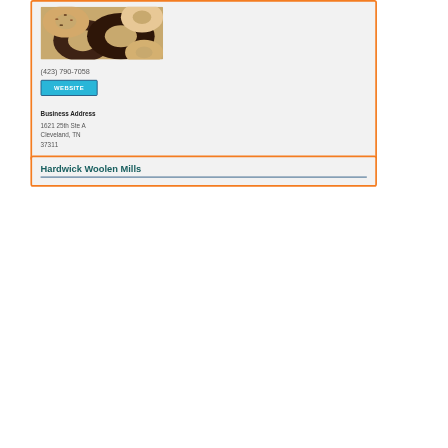[Figure (photo): Photo of assorted donuts with chocolate and sprinkles glazing]
(423) 790-7058
WEBSITE
Business Address
1621 25th Ste A
Cleveland, TN
37311
Hardwick Woolen Mills